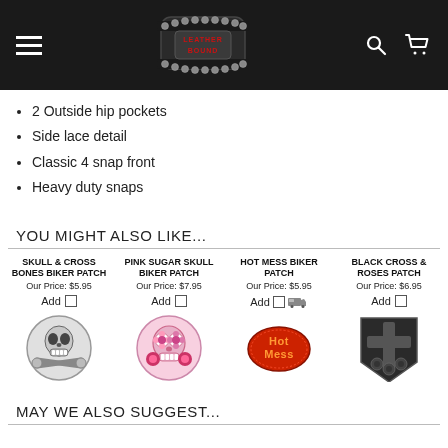Leather Bound - Navigation header with menu, logo, search and cart icons
2 Outside hip pockets
Side lace detail
Classic 4 snap front
Heavy duty snaps
YOU MIGHT ALSO LIKE...
SKULL & CROSS BONES BIKER PATCH - Our Price: $5.95
PINK SUGAR SKULL BIKER PATCH - Our Price: $7.95
HOT MESS BIKER PATCH - Our Price: $5.95
BLACK CROSS & ROSES PATCH - Our Price: $6.95
[Figure (illustration): Skull and crossbones patch image]
[Figure (illustration): Pink sugar skull biker patch image]
[Figure (illustration): Hot Mess biker patch - red oval with Hot Mess text]
[Figure (illustration): Black cross and roses patch image]
MAY WE ALSO SUGGEST...